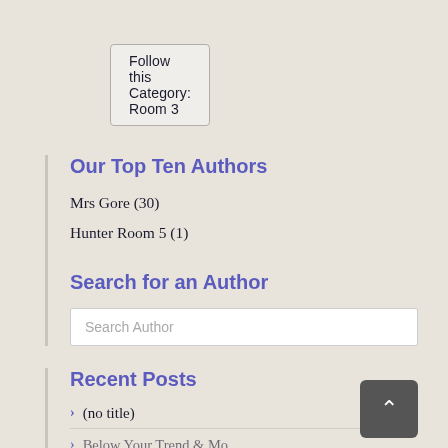Follow this Category: Room 3
Our Top Ten Authors
Mrs Gore (30)
Hunter Room 5 (1)
Search for an Author
Search Author
Recent Posts
(no title)
Below Your Trend & Mo...